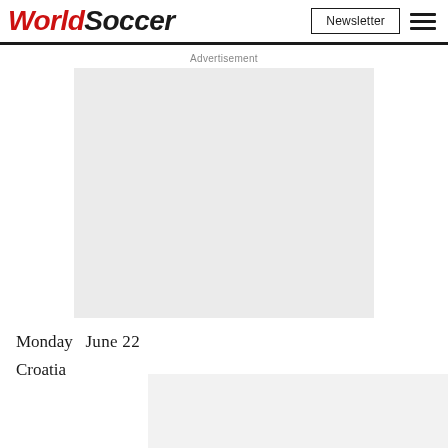WorldSoccer | Newsletter | Menu
Advertisement
[Figure (other): Advertisement placeholder box, light grey background]
Monday, June 22
Croatia